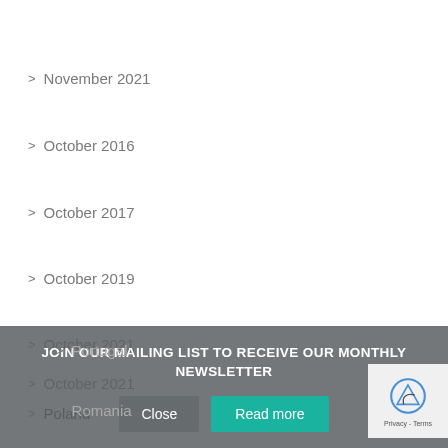> November 2021
> October 2016
> October 2017
> October 2019
> October 2021
> October 2021
> Poland
> Portugal
> Romania
JOIN OUR MAILING LIST TO RECEIVE OUR MONTHLY NEWSLETTER
Close  Read more